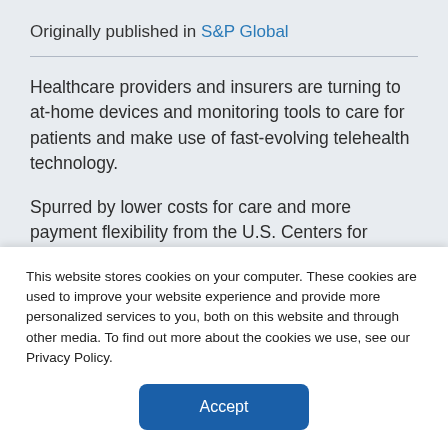Originally published in S&P Global
Healthcare providers and insurers are turning to at-home devices and monitoring tools to care for patients and make use of fast-evolving telehealth technology.
Spurred by lower costs for care and more payment flexibility from the U.S. Centers for Medicare and Medicaid Services, healthcare
This website stores cookies on your computer. These cookies are used to improve your website experience and provide more personalized services to you, both on this website and through other media. To find out more about the cookies we use, see our Privacy Policy.
Accept